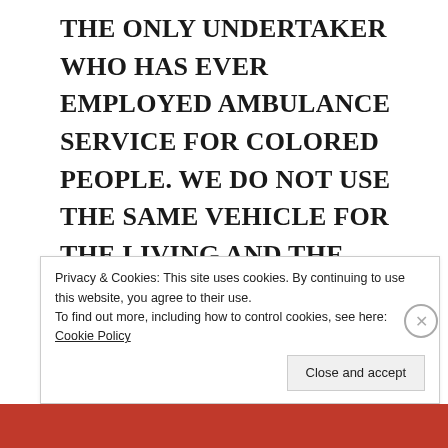THE ONLY UNDERTAKER WHO HAS EVER EMPLOYED AMBULANCE SERVICE FOR COLORED PEOPLE. WE DO NOT USE THE SAME VEHICLE FOR THE LIVING AND THE DEAD. AN ENTIRELY DIFFERENT CONVEYANCE ALTOGETHER. OUR AMBULANCE PROTECTS THE PATIENT NOT ONLY FROM THE COLD IN THE REAR BUT THE PATINET IS IN AN ENTIRELY DIFFERENT APARTMENT FROM THE DRIVERS IN THE FRONT.
Privacy & Cookies: This site uses cookies. By continuing to use this website, you agree to their use.
To find out more, including how to control cookies, see here: Cookie Policy

Close and accept